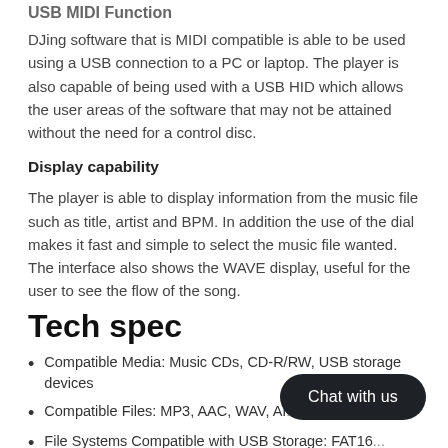USB MIDI Function
DJing software that is MIDI compatible is able to be used using a USB connection to a PC or laptop.  The player is also capable of being used with a USB HID which allows the user areas of the software that may not be attained without the need for a control disc.
Display capability
The player is able to display information from the music file such as title, artist and BPM.  In addition the use of the dial makes it fast and simple to select the music file wanted.  The interface also shows the WAVE display, useful for the user to see the flow of the song.
Tech spec
Compatible Media: Music CDs, CD-R/RW, USB storage devices
Compatible Files: MP3, AAC, WAV, AI...
File Systems Compatible with USB Storage: FAT16...